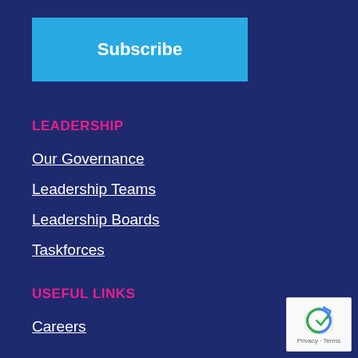Subscribe
LEADERSHIP
Our Governance
Leadership Teams
Leadership Boards
Taskforces
USEFUL LINKS
Careers
Key Policy Documents
Contact Us
Media Centre
Privacy and Cookie Policy
[Figure (logo): reCAPTCHA badge with Privacy and Terms text]